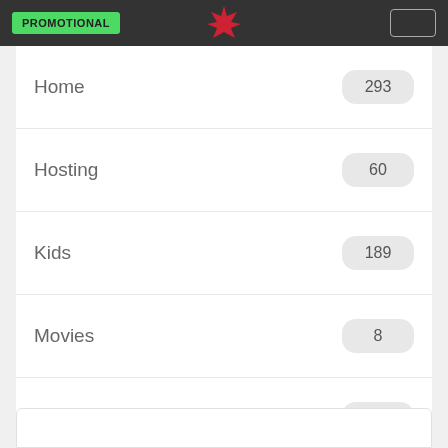PROMOTIONAL
Home 293
Hosting 60
Kids 189
Movies 8
Music 93
Software 96
Sports 330
Travel 508